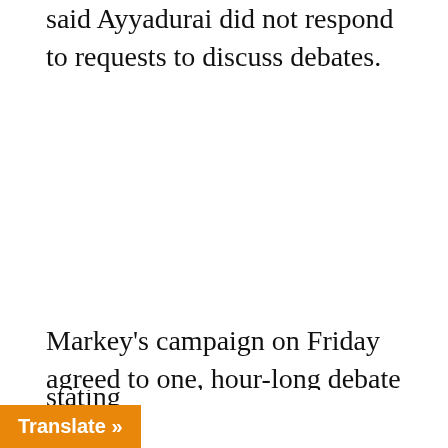said Ayyadurai did not respond to requests to discuss debates.
Markey's campaign on Friday agreed to one, hour-long debate next month hosted by the public radio and television station GBH and moderated by Jim Braude and Margery Eagan. The senator's campaign manager John [continued...] "final" debate of the election, stating